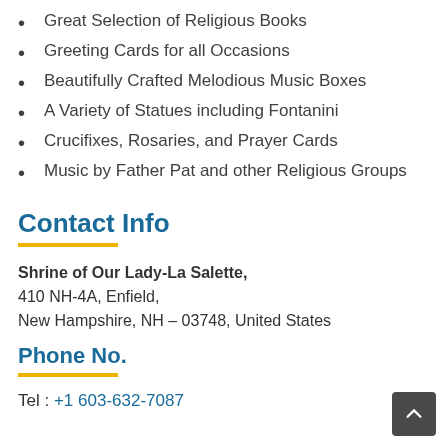Great Selection of Religious Books
Greeting Cards for all Occasions
Beautifully Crafted Melodious Music Boxes
A Variety of Statues including Fontanini
Crucifixes, Rosaries, and Prayer Cards
Music by Father Pat and other Religious Groups
Contact Info
Shrine of Our Lady-La Salette,
410 NH-4A, Enfield,
New Hampshire, NH – 03748, United States
Phone No.
Tel : +1 603-632-7087